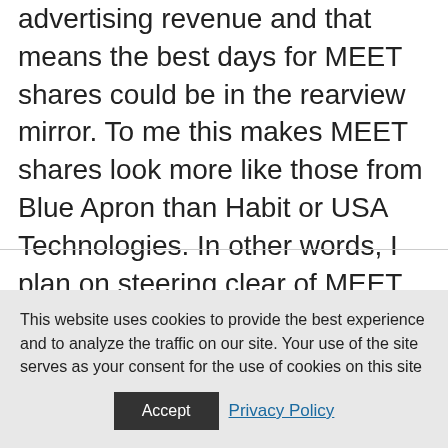advertising revenue and that means the best days for MEET shares could be in the rearview mirror. To me this makes MEET shares look more like those from Blue Apron than Habit or USA Technologies. In other words, I plan on steering clear of MEET shares and so should you.
This website uses cookies to provide the best experience and to analyze the traffic on our site. Your use of the site serves as your consent for the use of cookies on this site